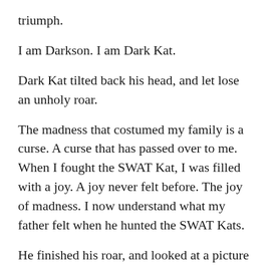triumph.
I am Darkson. I am Dark Kat.
Dark Kat tilted back his head, and let lose an unholy roar.
The madness that costumed my family is a curse. A curse that has passed over to me. When I fought the SWAT Kat, I was filled with a joy. A joy never felt before. The joy of madness. I now understand what my father felt when he hunted the SWAT Kats.
He finished his roar, and looked at a picture of the SWAT Kats.
And I shall continue that hunt — to the DEATH!!!